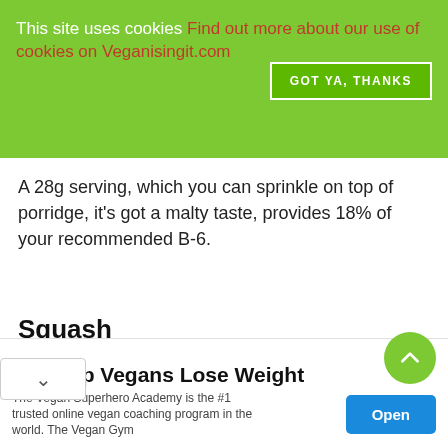This site uses cookies Find out more about our use of cookies on Veganisingit.com
GOT YA, THANKS
A 28g serving, which you can sprinkle on top of porridge, it's got a malty taste, provides 18% of your recommended B-6.
Squash
...change of pace from the typical potato
We Help Vegans Lose Weight
The Vegan Superhero Academy is the #1 trusted online vegan coaching program in the world. The Vegan Gym
Open